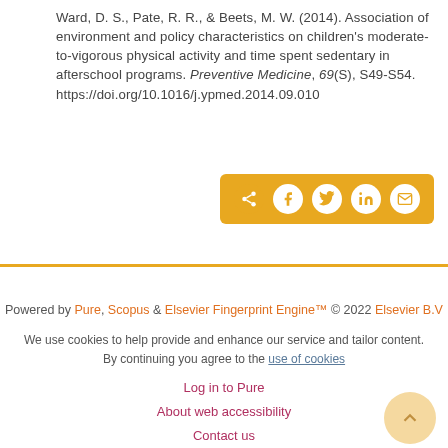Ward, D. S., Pate, R. R., & Beets, M. W. (2014). Association of environment and policy characteristics on children's moderate-to-vigorous physical activity and time spent sedentary in afterschool programs. Preventive Medicine, 69(S), S49-S54. https://doi.org/10.1016/j.ypmed.2014.09.010
[Figure (other): Social share button bar with icons for share, Facebook, Twitter, LinkedIn, and email on an orange/gold background]
Powered by Pure, Scopus & Elsevier Fingerprint Engine™ © 2022 Elsevier B.V
We use cookies to help provide and enhance our service and tailor content. By continuing you agree to the use of cookies
Log in to Pure
About web accessibility
Contact us